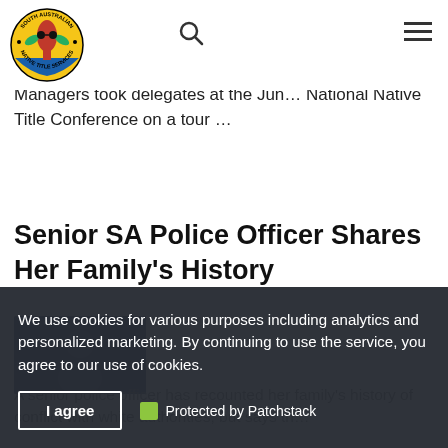[Figure (logo): South Australian Native Title Services circular logo with stylized red plant and text around the border]
Managers took delegates at the Jun… National Native Title Conference on a tour …
Senior SA Police Officer Shares Her Family's History
[Figure (photo): Dark blue article thumbnail image]
A senior police officer has recounted her family's history of conflict with white authorities, but says th…
We use cookies for various purposes including analytics and personalized marketing. By continuing to use the service, you agree to our use of cookies.
I agree
Protected by Patchstack